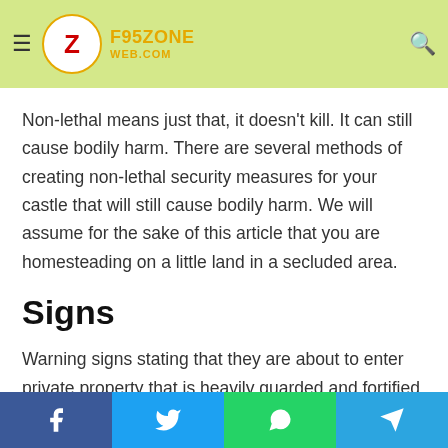F95ZONE WEB.COM
Non-lethal means just that, it doesn't kill. It can still cause bodily harm. There are several methods of creating non-lethal security measures for your castle that will still cause bodily harm. We will assume for the sake of this article that you are homesteading on a little land in a secluded area.
Signs
Warning signs stating that they are about to enter private property that is heavily guarded and fortified is fair warning before anyone crosses that line. If they so choose to continue then they are deserving of what's to come.
Social share bar: Facebook, Twitter, WhatsApp, Telegram